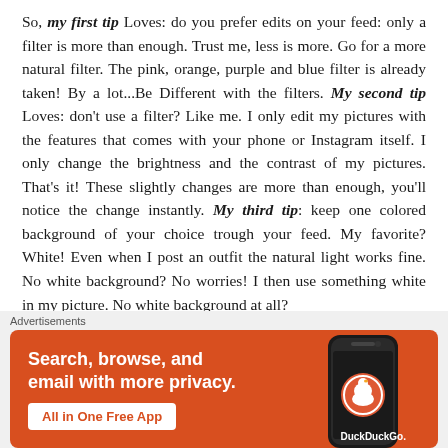So, my first tip Loves: do you prefer edits on your feed: only a filter is more than enough. Trust me, less is more. Go for a more natural filter. The pink, orange, purple and blue filter is already taken! By a lot...Be Different with the filters. My second tip Loves: don't use a filter? Like me. I only edit my pictures with the features that comes with your phone or Instagram itself. I only change the brightness and the contrast of my pictures. That's it! These slightly changes are more than enough, you'll notice the change instantly. My third tip: keep one colored background of your choice trough your feed. My favorite? White! Even when I post an outfit the natural light works fine. No white background? No worries! I then use something white in my picture. No white background at all?
[Figure (other): DuckDuckGo advertisement banner with orange background, phone mockup, headline 'Search, browse, and email with more privacy.' and button 'All in One Free App']